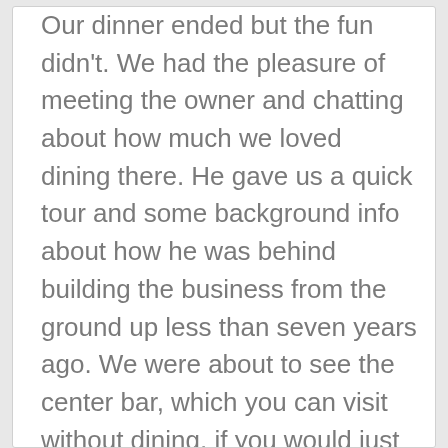Our dinner ended but the fun didn't. We had the pleasure of meeting the owner and chatting about how much we loved dining there. He gave us a quick tour and some background info about how he was behind building the business from the ground up less than seven years ago. We were about to see the center bar, which you can visit without dining, if you would just like to meet up with friends. There were even video game consoles installed to make it more fun for kids! There happened to be a birthday party going on as we walked around, which was taking place in a private dining room. Did I mention there is a dance floor!? Since we were there on Saturday night, my daughter was thrilled to have a chance to dance, get her face painted